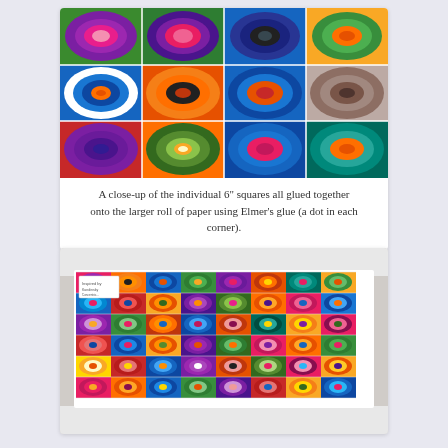[Figure (photo): Close-up photo of a 4x3 grid of 6-inch square artworks, each featuring colorful concentric circles painted in bright colors (pink, purple, green, blue, orange, yellow, red) inspired by Kandinsky, all assembled together.]
A close-up of the individual 6" squares all glued together onto the larger roll of paper using Elmer's glue (a dot in each corner).
[Figure (photo): Wide photo showing the full assembled display of many colorful student-made concentric circle paintings (Kandinsky-inspired) mounted on a large roll of paper on a wall, showing roughly 8 columns by 6 rows of bright multicolored square artworks.]